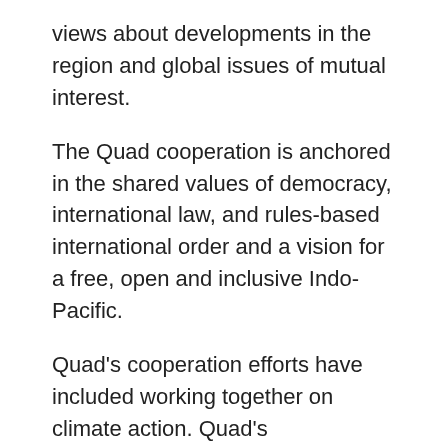views about developments in the region and global issues of mutual interest.
The Quad cooperation is anchored in the shared values of democracy, international law, and rules-based international order and a vision for a free, open and inclusive Indo-Pacific.
Quad's cooperation efforts have included working together on climate action. Quad's Infrastructure Coordination Group has been deliberating on supporting sustainable and demand-driven infrastructure in the region in a manner that doesn't burden countries of the